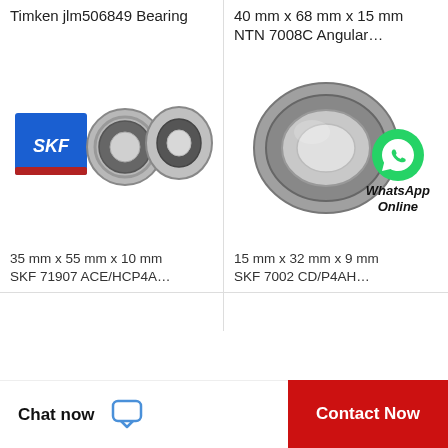Timken jlm506849 Bearing
[Figure (photo): SKF branded box with two ball bearings beside it]
35 mm x 55 mm x 10 mm SKF 71907 ACE/HCP4A…
40 mm x 68 mm x 15 mm NTN 7008C Angular…
[Figure (photo): Angular contact ball bearing with WhatsApp Online overlay]
15 mm x 32 mm x 9 mm SKF 7002 CD/P4AH…
Chat now
Contact Now